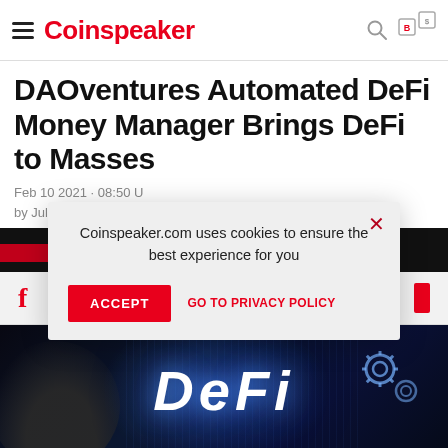Coinspeaker
DAOventures Automated DeFi Money Manager Brings DeFi to Masses
Feb 10 2021 · 08:50 U
by Julia Sakovich · 4
[Figure (screenshot): Cookie consent popup overlay: 'Coinspeaker.com uses cookies to ensure the best experience for you' with ACCEPT and GO TO PRIVACY POLICY buttons]
[Figure (photo): Dark blue digital DeFi concept image showing a hand pointing at glowing DEFI text with gear icons and digital data streams]